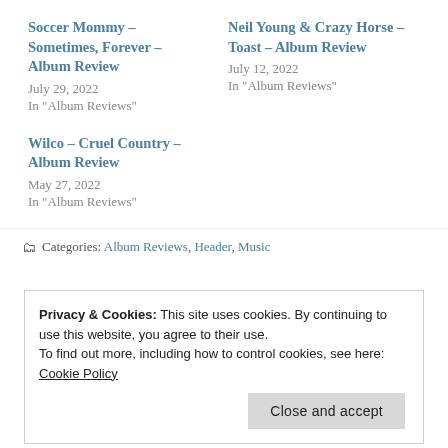Soccer Mommy – Sometimes, Forever – Album Review
July 29, 2022
In "Album Reviews"
Neil Young & Crazy Horse – Toast – Album Review
July 12, 2022
In "Album Reviews"
Wilco – Cruel Country – Album Review
May 27, 2022
In "Album Reviews"
Categories: Album Reviews, Header, Music
Privacy & Cookies: This site uses cookies. By continuing to use this website, you agree to their use.
To find out more, including how to control cookies, see here: Cookie Policy
Close and accept